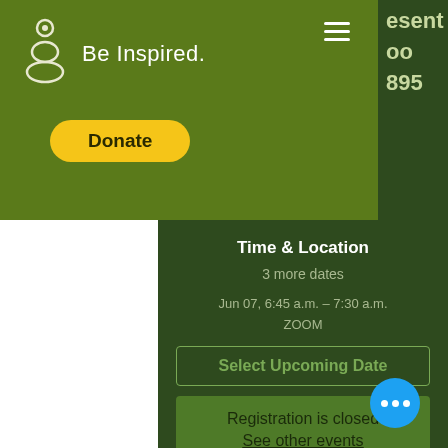[Figure (screenshot): Partial right strip showing cut-off text: 'esent', 'oo', '895' on dark green background]
[Figure (logo): Be Inspired logo with stacked circles icon and text 'Be Inspired.' on olive green header bar]
Donate
Time & Location
3 more dates
Jun 07, 6:45 a.m. – 7:30 a.m.
ZOOM
Select Upcoming Date
Registration is closed
See other events